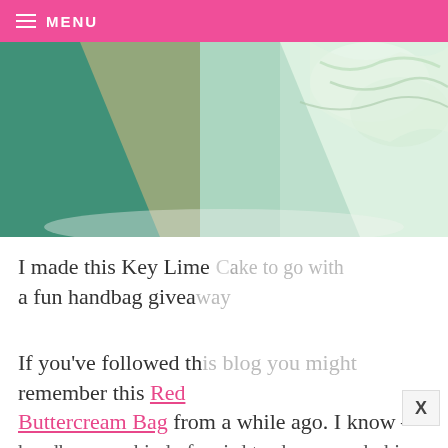MENU
[Figure (photo): Close-up photo of a Key Lime Cake with green and white frosting swirls on a teal/green background]
I made this Key Lim e Cake to go with a fun handbag givea way.
If you've followed th is blog, you might remember this Red Buttercream Bag from a while ago. I know – handbags are kind of weird to show on a baking si...